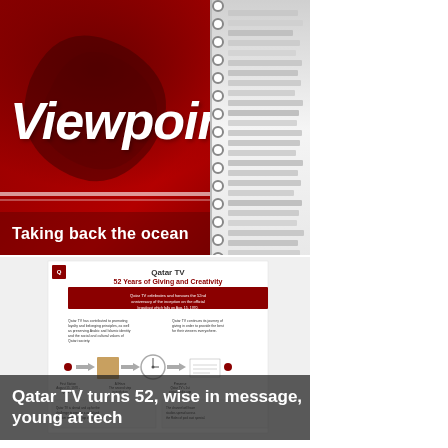[Figure (illustration): Viewpoint magazine/show banner with dark red background, large italic white 'Viewpoint' text, decorative swirl, and a spiral notebook on the right side. Subtitle reads 'Taking back the ocean' on a semi-transparent dark red bar.]
Taking back the ocean
[Figure (infographic): Qatar TV infographic titled '52 Years of Giving and Creativity' showing a timeline with images and text columns about Qatar TV's history and future plans.]
Qatar TV turns 52, wise in message, young at tech